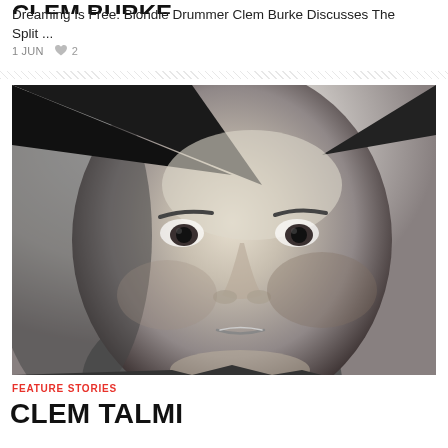CLEM BURKE
Dreaming Is Free: Blondie Drummer Clem Burke Discusses The Split ...
1 JUN  ♥ 2
[Figure (photo): Black and white close-up portrait photograph of a young man looking directly at the camera with a serious expression.]
FEATURE STORIES
CLEM TALMI